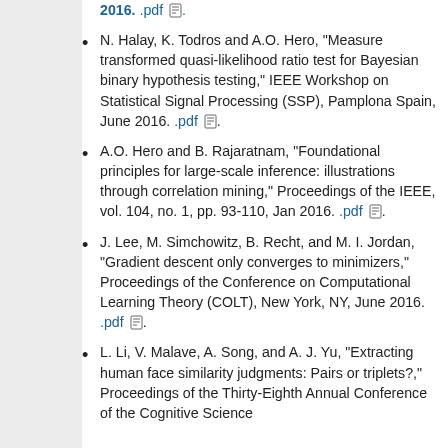[partial] .pdf .
N. Halay, K. Todros and A.O. Hero, "Measure transformed quasi-likelihood ratio test for Bayesian binary hypothesis testing," IEEE Workshop on Statistical Signal Processing (SSP), Pamplona Spain, June 2016. .pdf .
A.O. Hero and B. Rajaratnam, "Foundational principles for large-scale inference: illustrations through correlation mining," Proceedings of the IEEE, vol. 104, no. 1, pp. 93-110, Jan 2016. .pdf .
J. Lee, M. Simchowitz, B. Recht, and M. I. Jordan, "Gradient descent only converges to minimizers," Proceedings of the Conference on Computational Learning Theory (COLT), New York, NY, June 2016. .pdf .
L. Li, V. Malave, A. Song, and A. J. Yu, "Extracting human face similarity judgments: Pairs or triplets?," Proceedings of the Thirty-Eighth Annual Conference of the Cognitive Science